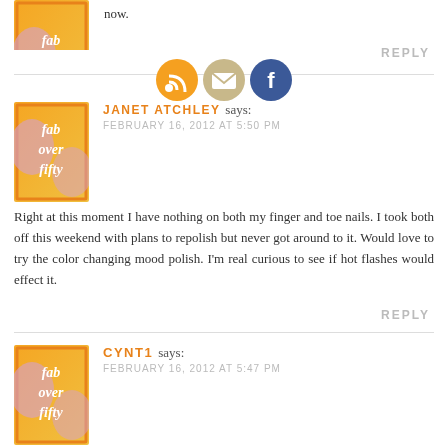[Figure (logo): Fab Over Fifty logo - orange/yellow gradient square with text 'fab over fifty' in white italic]
now.
REPLY
[Figure (infographic): Three social media icons: RSS (orange), Email (tan/gold), Facebook (blue)]
JANET ATCHLEY says:
FEBRUARY 16, 2012 AT 5:50 PM
Right at this moment I have nothing on both my finger and toe nails. I took both off this weekend with plans to repolish but never got around to it. Would love to try the color changing mood polish. I'm real curious to see if hot flashes would effect it.
REPLY
[Figure (logo): Fab Over Fifty logo - orange/yellow gradient square with text 'fab over fifty' in white italic]
CYNT1 says:
FEBRUARY 16, 2012 AT 5:47 PM
Nothing! My fingernails and toenails get really red for some